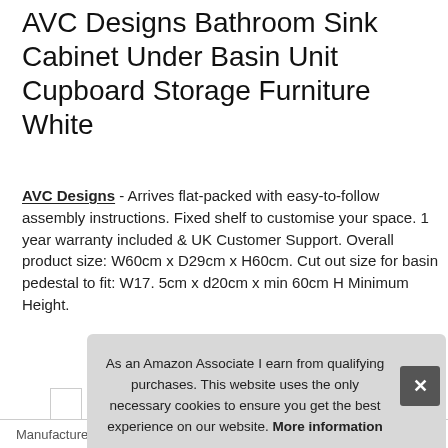AVC Designs Bathroom Sink Cabinet Under Basin Unit Cupboard Storage Furniture White
AVC Designs - Arrives flat-packed with easy-to-follow assembly instructions. Fixed shelf to customise your space. 1 year warranty included & UK Customer Support. Overall product size: W60cm x D29cm x H60cm. Cut out size for basin pedestal to fit: W17. 5cm x d20cm x min 60cm H Minimum Height.
As an Amazon Associate I earn from qualifying purchases. This website uses the only necessary cookies to ensure you get the best experience on our website. More information
| Manufacturer | AVC Designs |
| --- | --- |